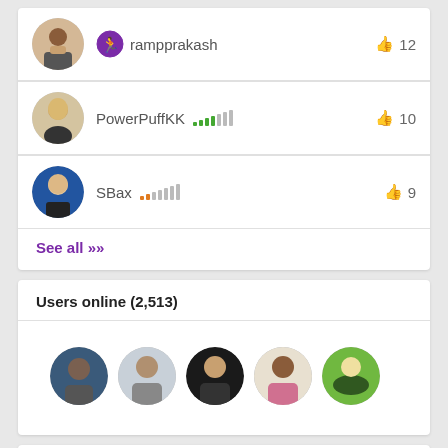rampprakash  👍 12
PowerPuffKK  👍 10
SBax  👍 9
See all >>
Users online (2,513)
[Figure (photo): Row of 5 circular user avatar photos for online users]
Top Tags